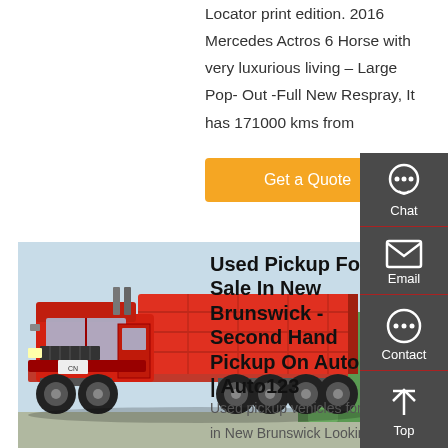Locator print edition. 2016 Mercedes Actros 6 Horse with very luxurious living – Large Pop- Out -Full New Respray, It has 171000 kms from
Get a Quote
[Figure (photo): Red dump truck (SINOTRUK/HOWO style 8-wheel heavy duty tipper) parked in a lot with other trucks visible in background]
Used Pickup For Sale In New Brunswick - Second Hand Pickup On Auto123 | Auto123
Used pickup vehicles for sale in New Brunswick Looking for a used pickup for sale in New
[Figure (other): Right sidebar with dark grey background showing Chat (headset icon), Email (envelope icon), Contact (speech bubble icon), and Top (up arrow) buttons]